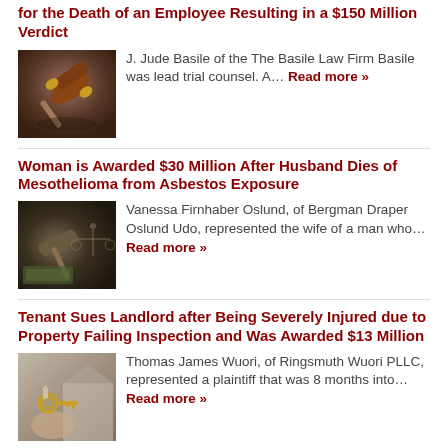for the Death of an Employee Resulting in a $150 Million Verdict
[Figure (photo): Close-up photo of a wooden gavel on a surface]
J. Jude Basile of the The Basile Law Firm Basile was lead trial counsel. A… Read more »
Woman is Awarded $30 Million After Husband Dies of Mesothelioma from Asbestos Exposure
[Figure (photo): Gavel with money/currency in dark sepia tones]
Vanessa Firnhaber Oslund, of Bergman Draper Oslund Udo, represented the wife of a man who… Read more »
Tenant Sues Landlord after Being Severely Injured due to Property Failing Inspection and Was Awarded $13 Million
[Figure (photo): Person holding house keys with a building in the background]
Thomas James Wuori, of Ringsmuth Wuori PLLC, represented a plaintiff that was 8 months into… Read more »